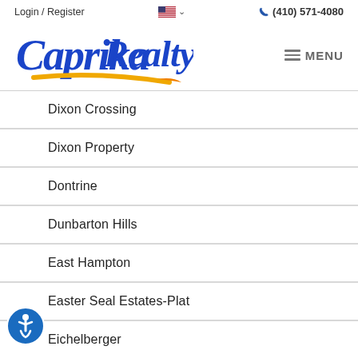Login / Register   (410) 571-4080
[Figure (logo): Caprika Realty logo in blue italic script with gold/orange swoosh underline, followed by hamburger menu icon and MENU text]
Dixon Crossing
Dixon Property
Dontrine
Dunbarton Hills
East Hampton
Easter Seal Estates-Plat
Eichelberger